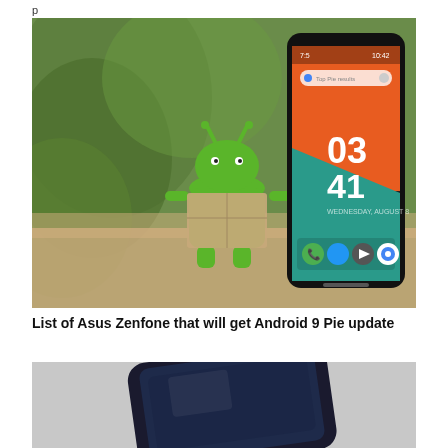p
[Figure (photo): An Asus Zenfone smartphone with orange and teal wallpaper displaying 03:41 time, with Android figurine in blurred background]
List of Asus Zenfone that will get Android 9 Pie update
[Figure (photo): A dark smartphone (likely Asus Zenfone) photographed from above on a light surface, partially visible]